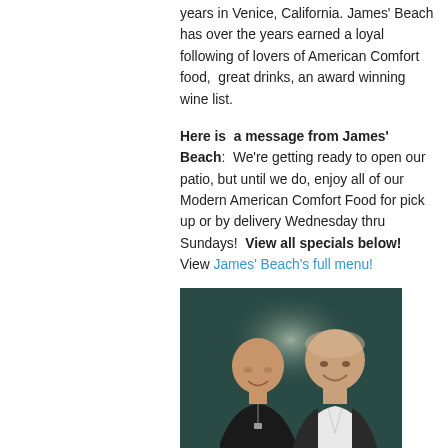years in Venice, California. James' Beach has over the years earned a loyal following of lovers of American Comfort food,  great drinks, an award winning wine list.
Here is  a message from James' Beach:  We're getting ready to open our patio, but until we do, enjoy all of our Modern American Comfort Food for pick up or by delivery Wednesday thru Sundays!  View all specials below!  View James' Beach's full menu!
[Figure (photo): Two men smiling at the camera, posing together in front of a dark teal/green background. The man on the left is bald wearing a black shirt with a necklace; the man on the right is heavier-set wearing a dark blazer over a white shirt.]
So who is